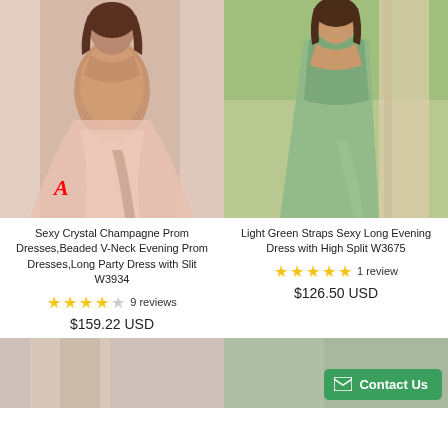[Figure (photo): Woman wearing a champagne/pink beaded V-neck prom dress with high slit, label A in red]
[Figure (photo): Woman wearing a light green straps long evening dress with high split]
Sexy Crystal Champagne Prom Dresses,Beaded V-Neck Evening Prom Dresses,Long Party Dress with Slit W3934
★★★★☆ 9 reviews
$159.22 USD
Light Green Straps Sexy Long Evening Dress with High Split W3675
★★★★★ 1 review
$126.50 USD
[Figure (photo): Partial bottom-left product photo]
[Figure (photo): Partial bottom-right product photo with Contact Us button overlay]